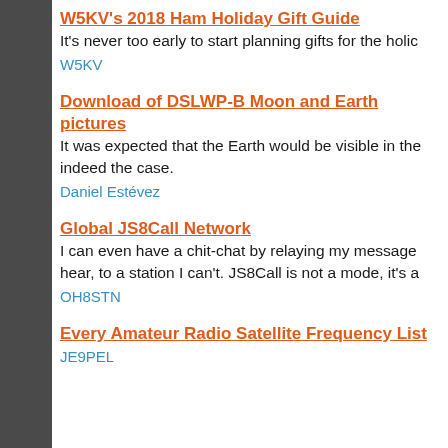W5KV's 2018 Ham Holiday Gift Guide
It's never too early to start planning gifts for the holic
W5KV
Download of DSLWP-B Moon and Earth pictures
It was expected that the Earth would be visible in the indeed the case.
Daniel Estévez
Global JS8Call Network
I can even have a chit-chat by relaying my message hear, to a station I can't. JS8Call is not a mode, it's a
OH8STN
Every Amateur Radio Satellite Frequency List
JE9PEL